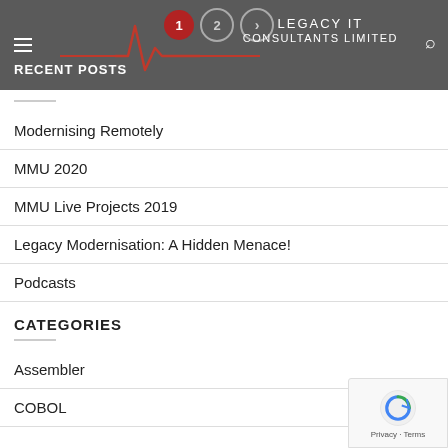Legacy IT Consultants Limited
RECENT POSTS
Modernising Remotely
MMU 2020
MMU Live Projects 2019
Legacy Modernisation: A Hidden Menace!
Podcasts
CATEGORIES
Assembler
COBOL